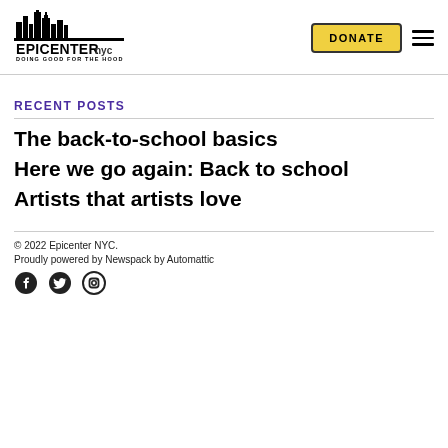[Figure (logo): Epicenter NYC logo with city skyline silhouette and tagline DOING GOOD FOR THE HOOD]
RECENT POSTS
The back-to-school basics
Here we go again: Back to school
Artists that artists love
© 2022 Epicenter NYC.
Pproudly powered by Newspack by Automattic